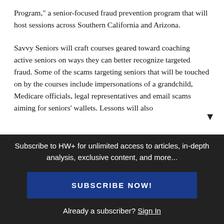Program," a senior-focused fraud prevention program that will host sessions across Southern California and Arizona.
Savvy Seniors will craft courses geared toward coaching active seniors on ways they can better recognize targeted fraud. Some of the scams targeting seniors that will be touched on by the courses include impersonations of a grandchild, Medicare officials, legal representatives and email scams aiming for seniors' wallets. Lessons will also
Subscribe to HW+ for unlimited access to articles, in-depth analysis, exclusive content, and more...
SUBSCRIBE NOW!
Already a subscriber? Sign In